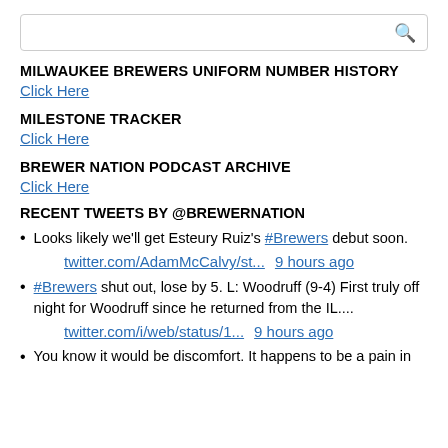[Figure (other): Search bar with magnifying glass icon]
MILWAUKEE BREWERS UNIFORM NUMBER HISTORY
Click Here
MILESTONE TRACKER
Click Here
BREWER NATION PODCAST ARCHIVE
Click Here
RECENT TWEETS BY @BREWERNATION
Looks likely we'll get Esteury Ruiz's #Brewers debut soon. twitter.com/AdamMcCalvy/st... 9 hours ago
#Brewers shut out, lose by 5. L: Woodruff (9-4) First truly off night for Woodruff since he returned from the IL.... twitter.com/i/web/status/1... 9 hours ago
You know it would be discomfort. It happens to be a pain in